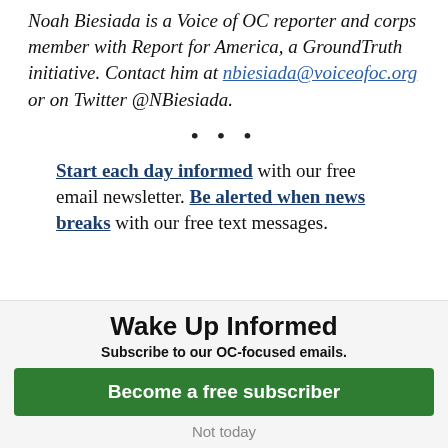Noah Biesiada is a Voice of OC reporter and corps member with Report for America, a GroundTruth initiative. Contact him at nbiesiada@voiceofoc.org or on Twitter @NBiesiada.
• • •
Start each day informed with our free email newsletter. Be alerted when news breaks with our free text messages.
Wake Up Informed
Subscribe to our OC-focused emails.
Become a free subscriber
Not today